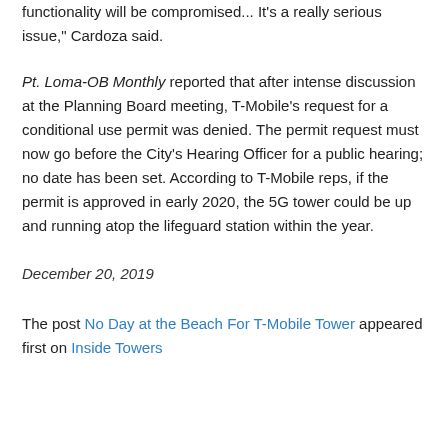functionality will be compromised... It's a really serious issue," Cardoza said.
Pt. Loma-OB Monthly reported that after intense discussion at the Planning Board meeting, T-Mobile's request for a conditional use permit was denied. The permit request must now go before the City's Hearing Officer for a public hearing; no date has been set. According to T-Mobile reps, if the permit is approved in early 2020, the 5G tower could be up and running atop the lifeguard station within the year.
December 20, 2019
The post No Day at the Beach For T-Mobile Tower appeared first on Inside Towers